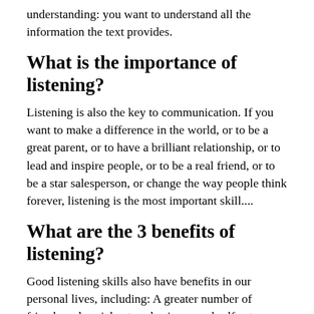understanding: you want to understand all the information the text provides.
What is the importance of listening?
Listening is also the key to communication. If you want to make a difference in the world, or to be a great parent, or to have a brilliant relationship, or to lead and inspire people, or to be a real friend, or to be a star salesperson, or change the way people think forever, listening is the most important skill....
What are the 3 benefits of listening?
Good listening skills also have benefits in our personal lives, including: A greater number of friends and social networks, improved self-esteem and confidence, higher grades at school and in academic work, and even better health and general well-being.